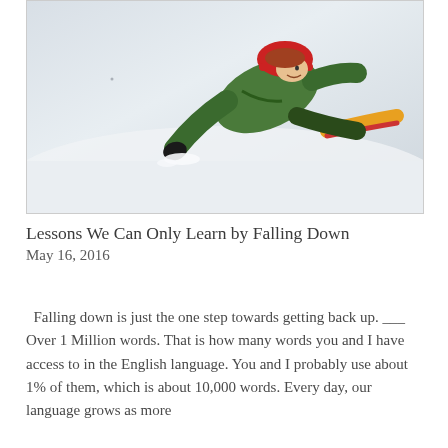[Figure (photo): A young boy in a green jacket and red hat sledding down a snowy hill, reaching forward with one hand on the snow]
Lessons We Can Only Learn by Falling Down
May 16, 2016
Falling down is just the one step towards getting back up. ___ Over 1 Million words. That is how many words you and I have access to in the English language. You and I probably use about 1% of them, which is about 10,000 words. Every day, our language grows as more